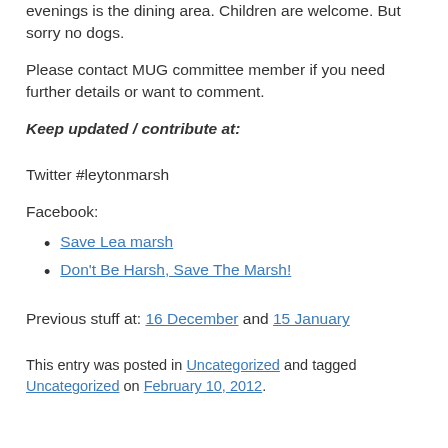evenings is the dining area. Children are welcome. But sorry no dogs.
Please contact MUG committee member if you need further details or want to comment.
Keep updated / contribute at:
Twitter #leytonmarsh
Facebook:
Save Lea marsh
Don't Be Harsh, Save The Marsh!
Previous stuff at: 16 December and 15 January
This entry was posted in Uncategorized and tagged Uncategorized on February 10, 2012.